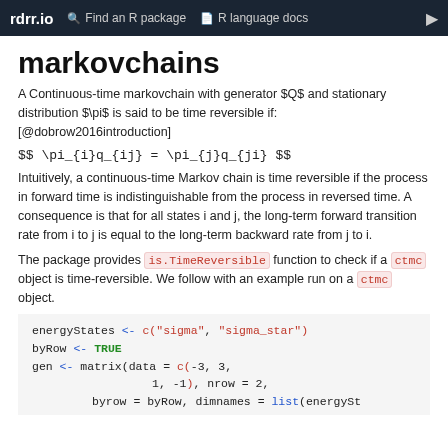rdrr.io   Find an R package   R language docs
markovchains
A Continuous-time markovchain with generator $Q$ and stationary distribution $\pi$ is said to be time reversible if: [@dobrow2016introduction]
Intuitively, a continuous-time Markov chain is time reversible if the process in forward time is indistinguishable from the process in reversed time. A consequence is that for all states i and j, the long-term forward transition rate from i to j is equal to the long-term backward rate from j to i.
The package provides is.TimeReversible function to check if a ctmc object is time-reversible. We follow with an example run on a ctmc object.
energyStates <- c("sigma", "sigma_star")
byRow <- TRUE
gen <- matrix(data = c(-3, 3,
                        1, -1), nrow = 2,
              byrow = byRow, dimnames = list(energySt